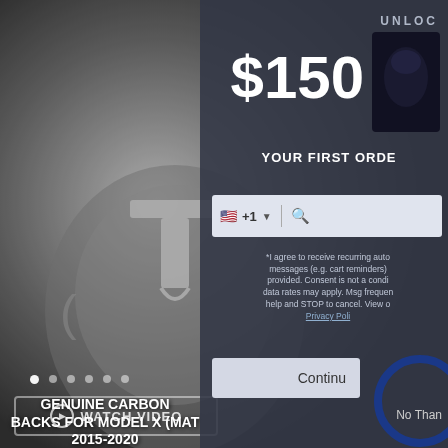[Figure (photo): Tesla carbon fiber steering wheel close-up with Tesla T logo, black and white/grayscale photo]
UNLOC
$150 O
YOUR FIRST ORDE
[Figure (photo): Small dark Tesla seat product image]
+1
*I agree to receive recurring auto messages (e.g. cart reminders) provided. Consent is not a condi data rates may apply. Msg frequen help and STOP to cancel. View o Privacy Poli
Continu
No Than
GENUINE CARBON BACKS FOR MODEL X (MAT 2015-2020
WATCH VIDEO